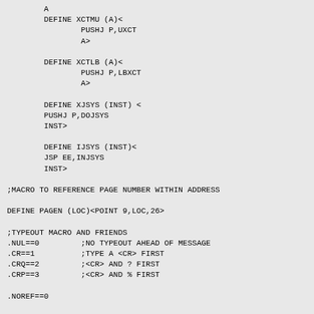A
        DEFINE XCTMU (A)<
                PUSHJ P,UXCT
                A>

        DEFINE XCTLB (A)<
                PUSHJ P,LBXCT
                A>

        DEFINE XJSYS (INST) <
        PUSHJ P,DOJSYS
        INST>

        DEFINE IJSYS (INST)<
        JSP EE,INJSYS
        INST>

;MACRO TO REFERENCE PAGE NUMBER WITHIN ADDRESS

DEFINE PAGEN (LOC)<POINT 9,LOC,26>

;TYPEOUT MACRO AND FRIENDS
.NUL==0         ;NO TYPEOUT AHEAD OF MESSAGE
.CR==1          ;TYPE A <CR> FIRST
.CRQ==2         ;<CR> AND ? FIRST
.CRP==3         ;<CR> AND % FIRST

.NOREF==0

        DEFINE TMSG (MSG)